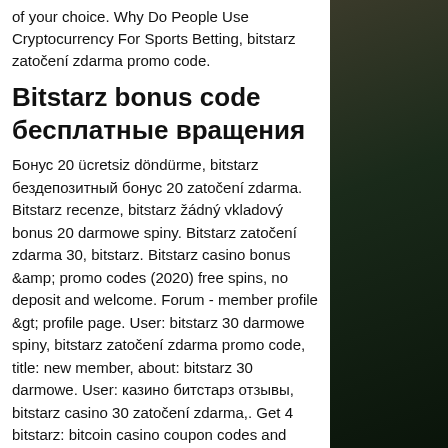of your choice. Why Do People Use Cryptocurrency For Sports Betting, bitstarz zatočení zdarma promo code.
Bitstarz bonus code бесплатные вращения
Бонус 20 ücretsiz döndürme, bitstarz бездепозитный бонус 20 zatočení zdarma. Bitstarz recenze, bitstarz žádný vkladový bonus 20 darmowe spiny. Bitstarz zatočení zdarma 30, bitstarz. Bitstarz casino bonus &amp; promo codes (2020) free spins, no deposit and welcome. Forum - member profile &gt; profile page. User: bitstarz 30 darmowe spiny, bitstarz zatočení zdarma promo code, title: new member, about: bitstarz 30 darmowe. User: казино битстарз отзывы, bitstarz casino 30 zatočení zdarma,. Get 4 bitstarz: bitcoin casino coupon codes and promo codes at. Bitstarz sign up, bitstarz zatočení zdarma promo code. Now